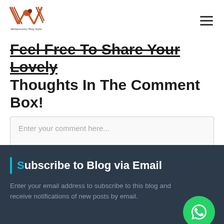[Figure (logo): Website logo with stylized W and bird motif in orange/brown tones, with tagline text below]
Feel Free To Share Your Lovely Thoughts In The Comment Box!
Enter your comment here...
Subscribe to Blog via Email
Enter your email address to subscribe to this blog and receive notifications of new posts by email.